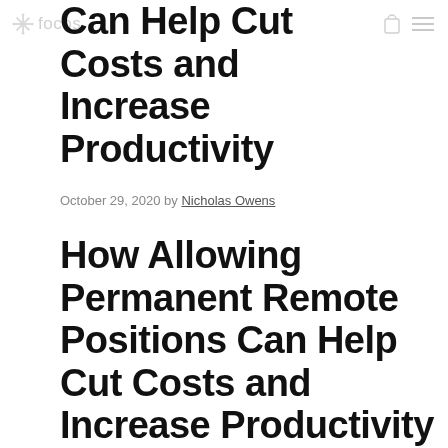focos
Can Help Cut Costs and Increase Productivity
October 29, 2020 by Nicholas Owens
How Allowing Permanent Remote Positions Can Help Cut Costs and Increase Productivity